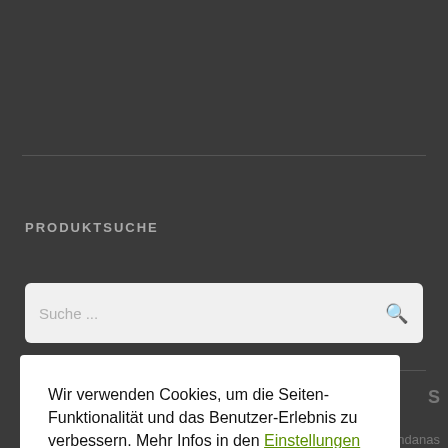PRODUKTSUCHE
Suche ...
Wir verwenden Cookies, um die Seiten-Funktionalität und das Benutzer-Erlebnis zu verbessern. Mehr Infos in den Einstellungen und der Datenschutzerklärung.
Zustimmen
Ablehnen